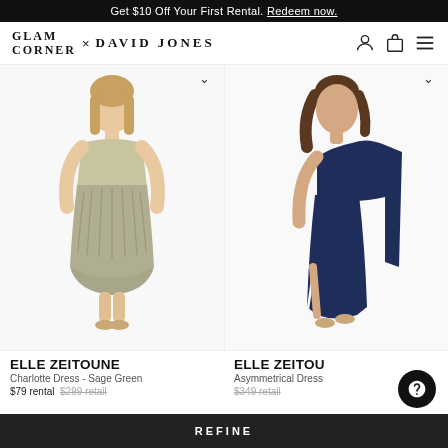Get $10 Off Your First Rental. Redeem now.
[Figure (logo): GlamCorner x David Jones logo with navigation icons (profile, bag, menu)]
[Figure (photo): Model wearing Elle Zeitoune Charlotte Dress in Sage Green - a halterneck ruched midi dress]
[Figure (photo): Model wearing Elle Zeitoune Asymmetrical Dress - a one-shoulder navy blue gown with side slit]
ELLE ZEITOUNE
Charlotte Dress - Sage Green
$79 rental  $299 retail
ELLE ZEITOU...
Asymmetrical Dress
$349 retail
REFINE